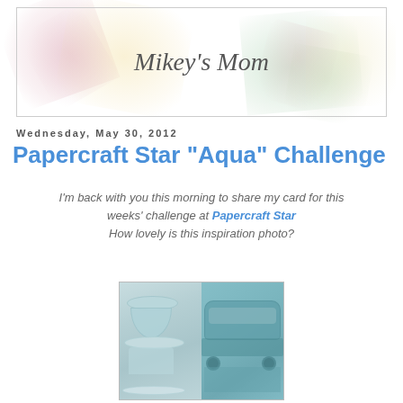[Figure (illustration): Blog header banner for 'Mikey's Mom' with soft pastel flower petals in pink, yellow, green and cream tones, with italic script text reading Mikey's Mom in the center]
Wednesday, May 30, 2012
Papercraft Star "Aqua" Challenge
I'm back with you this morning to share my card for this weeks' challenge at Papercraft Star How lovely is this inspiration photo?
[Figure (photo): Inspiration photo showing aqua/teal colored dishware including a bowl and plates on the left side, and a vintage teal car on the right side]